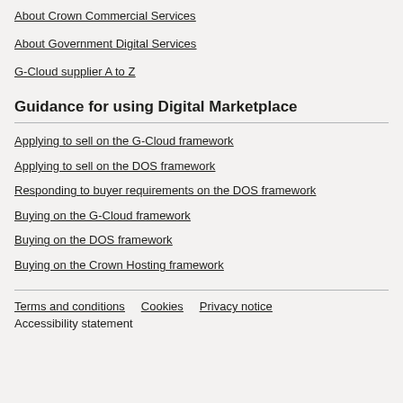About Crown Commercial Services
About Government Digital Services
G-Cloud supplier A to Z
Guidance for using Digital Marketplace
Applying to sell on the G-Cloud framework
Applying to sell on the DOS framework
Responding to buyer requirements on the DOS framework
Buying on the G-Cloud framework
Buying on the DOS framework
Buying on the Crown Hosting framework
Terms and conditions   Cookies   Privacy notice
Accessibility statement